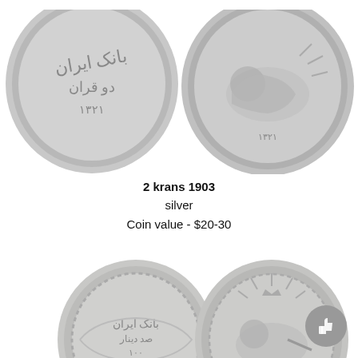[Figure (photo): Two sides of a silver 2 krans 1903 Iranian coin — obverse with Persian script and reverse with lion motif]
2 krans 1903
silver
Coin value - $20-30
[Figure (photo): Two sides of a copper-nickel 100 dinars 1901 Iranian coin — obverse with Persian inscriptions and reverse with lion and sun motif]
100 dinars 1901
copper-nickel
100
1318
Coin value - $5-8